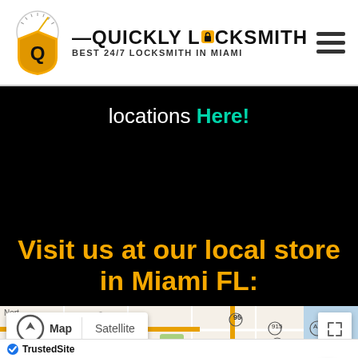[Figure (logo): Quickly Locksmith logo with shield icon, speedometer graphic, and brand name]
locations Here!
Visit us at our local store in Miami FL:
[Figure (map): Google Maps embed showing North Miami area with roads, including Hialeah, Hialeah Gardens, North Miami, Bal Harbour, Surfside, Miami Shores. Shows Map/Satellite toggle buttons and expand button. Highway markers 826, 95, 915, 909, A1A, 1, 934 visible.]
TrustedSite